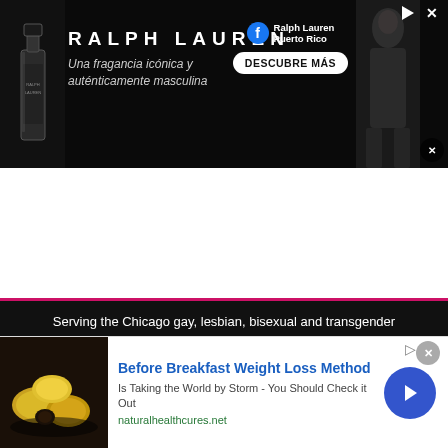[Figure (screenshot): Ralph Lauren advertisement banner. Black background with cologne bottle on left, brand name 'RALPH LAUREN' in large letters, tagline 'Una fragancia icónica y auténticamente masculina', Facebook logo with 'Ralph Lauren Puerto Rico' text, 'DESCUBRE MÁS' button, and model silhouette on the right.]
Serving the Chicago gay, lesbian, bisexual and transgender communities. ©Copyright 2022 GoPride Networks. All rights
GoPride.com™. Know Chicago. Chicago Everyday™. Log
We use cookies.
Yes, we use cookies to ensure we give you the best experience using this website.
By closing this box or clicking on the continue button, you agree to our terms of use and consent to the use of
[Figure (screenshot): Bottom advertisement: 'Before Breakfast Weight Loss Method - Is Taking the World by Storm - You Should Check it Out' with naturalhealthcures.net URL, lemon/food image on left, blue arrow button on right.]